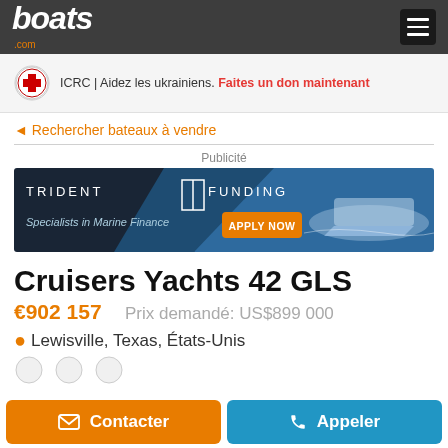boats.com
[Figure (infographic): ICRC Red Cross charity banner: ICRC | Aidez les ukrainiens. Faites un don maintenant]
◄ Rechercher bateaux à vendre
Publicité
[Figure (infographic): Trident Funding advertisement banner. Text: TRIDENT TF FUNDING Specialists in Marine Finance. Button: APPLY NOW. Shows a boat image on the right.]
Cruisers Yachts 42 GLS
€902 157   Prix demandé: US$899 000
Lewisville, Texas, États-Unis
Contacter
Appeler